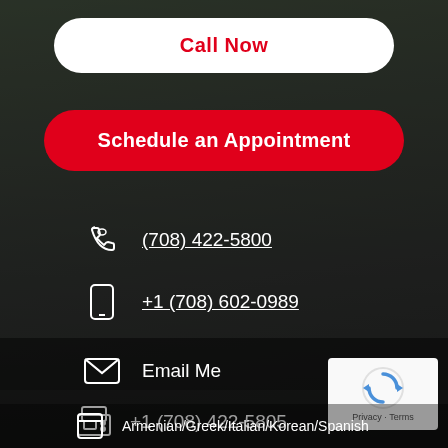Call Now
Schedule an Appointment
(708) 422-5800
+1 (708) 602-0989
Email Me
+1 (708) 422-5805
7903 S. Lockwood Ave. Burbank, IL 60459
Armenian/Greek/Italian/Korean/Spanish